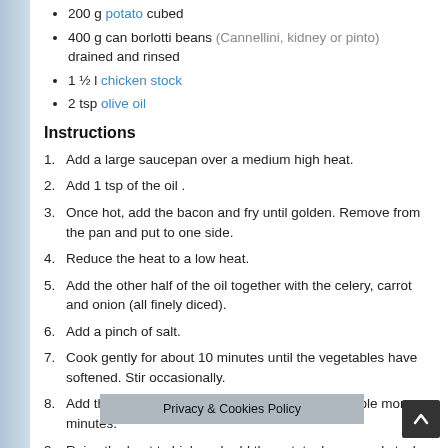200 g potato cubed
400 g can borlotti beans (Cannellini, kidney or pinto) drained and rinsed
1 ½ l chicken stock
2 tsp olive oil
Instructions
1. Add a large saucepan over a medium high heat.
2. Add 1 tsp of the oil .
3. Once hot, add the bacon and fry until golden. Remove from the pan and put to one side.
4. Reduce the heat to a low heat.
5. Add the other half of the oil together with the celery, carrot and onion (all finely diced).
6. Add a pinch of salt.
7. Cook gently for about 10 minutes until the vegetables have softened. Stir occasionally.
8. Add the garlic, bay and thyme and cook for a couple more minutes.
9. Raise the heat to high and add the potato, beans and stock bringing it to a boil. T...0 – 15 minutes.
Privacy & Cookies Policy